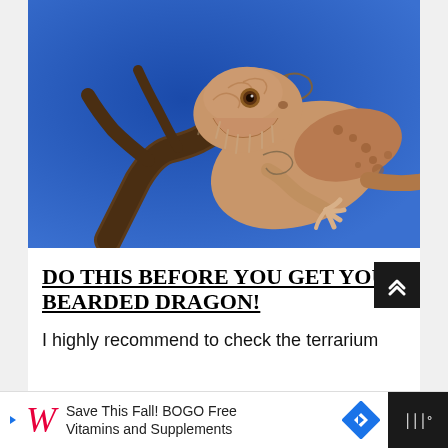[Figure (photo): A bearded dragon lizard perched on a piece of dark driftwood against a vivid blue background. The lizard has textured tan/beige scales with spotted patterns and is facing slightly left.]
DO THIS BEFORE YOU GET YOUR BEARDED DRAGON!
I highly recommend to check the terrarium
[Figure (infographic): Walgreens advertisement bar: 'Save This Fall! BOGO Free Vitamins and Supplements' with Walgreens cursive logo, a blue diamond arrow icon, and a dark weather widget button.]